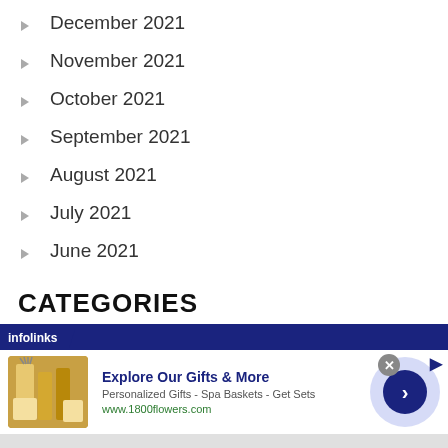December 2021
November 2021
October 2021
September 2021
August 2021
July 2021
June 2021
CATEGORIES
[Figure (other): Infolinks advertisement banner for 1800flowers.com: 'Explore Our Gifts & More - Personalized Gifts - Spa Baskets - Get Sets']